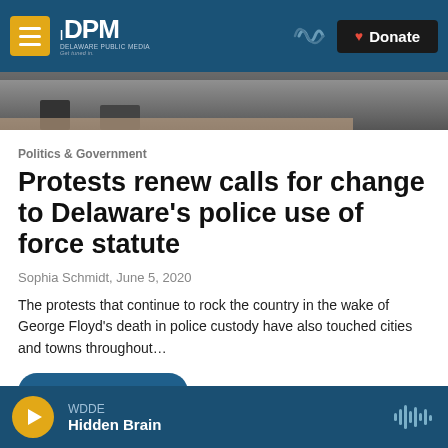DPM Delaware Public Media — Donate
[Figure (photo): Partial photo of a street scene, bottom portion visible showing feet/pavement]
Politics & Government
Protests renew calls for change to Delaware's police use of force statute
Sophia Schmidt,  June 5, 2020
The protests that continue to rock the country in the wake of George Floyd's death in police custody have also touched cities and towns throughout...
LISTEN • 6:27
WDDE Hidden Brain